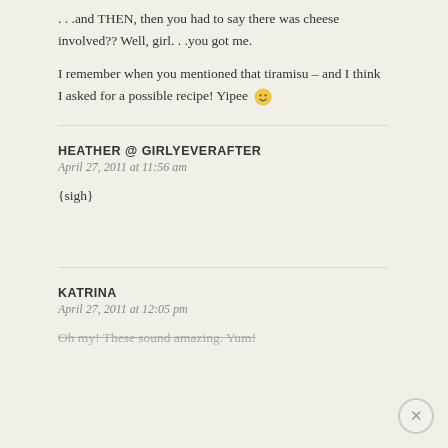…and THEN, then you had to say there was cheese involved?? Well, girl…you got me.

I remember when you mentioned that tiramisu – and I think I asked for a possible recipe! Yipee 🙂
HEATHER @ GIRLYEVERAFTER
April 27, 2011 at 11:56 am
{sigh}
KATRINA
April 27, 2011 at 12:05 pm
Oh my! These sound amazing. Yum!